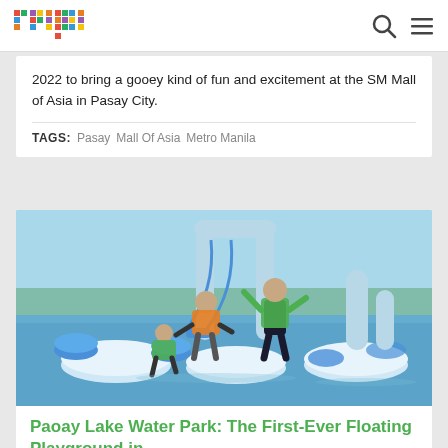primer
2022 to bring a gooey kind of fun and excitement at the SM Mall of Asia in Pasay City.
TAGS: Pasay  Mall Of Asia  Metro Manila
[Figure (photo): Children and an adult playing on a blue and white inflatable floating water park structure on a lake, wearing life vests.]
Paoay Lake Water Park: The First-Ever Floating Playground in